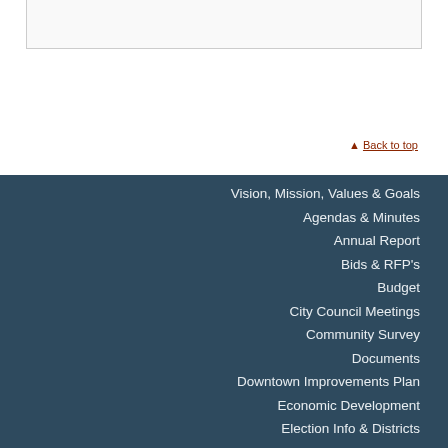▲ Back to top
Vision, Mission, Values & Goals
Agendas & Minutes
Annual Report
Bids & RFP's
Budget
City Council Meetings
Community Survey
Documents
Downtown Improvements Plan
Economic Development
Election Info & Districts